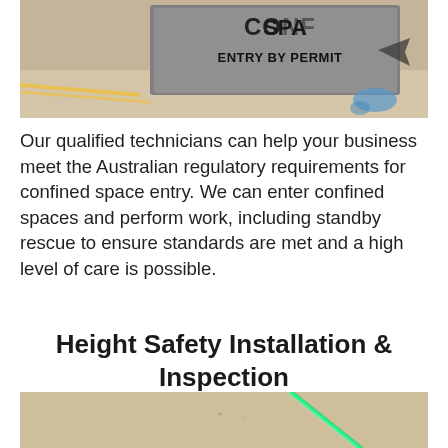[Figure (photo): A sign reading 'CONFINED SPACE – ENTRY BY PERMIT ONLY' photographed outdoors on a surface with yellow tape and blue paint marks visible.]
Our qualified technicians can help your business meet the Australian regulatory requirements for confined space entry. We can enter confined spaces and perform work, including standby rescue to ensure standards are met and a high level of care is possible.
Height Safety Installation & Inspection
[Figure (photo): A close-up photo of a ceiling or wall surface with a glowing green cable or LED strip running diagonally across it.]